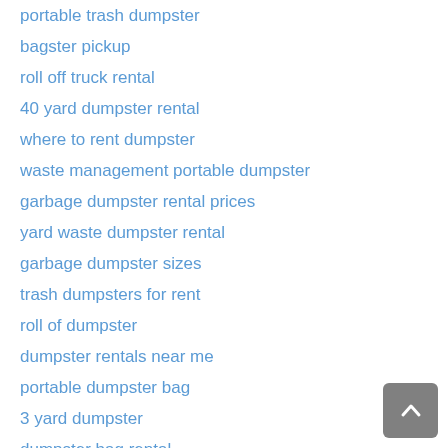portable trash dumpster
bagster pickup
roll off truck rental
40 yard dumpster rental
where to rent dumpster
waste management portable dumpster
garbage dumpster rental prices
yard waste dumpster rental
garbage dumpster sizes
trash dumpsters for rent
roll of dumpster
dumpster rentals near me
portable dumpster bag
3 yard dumpster
dumpster bag rental
roll away dumpster
temporary dumpster
price of dumpster
waste management dumpster sizes